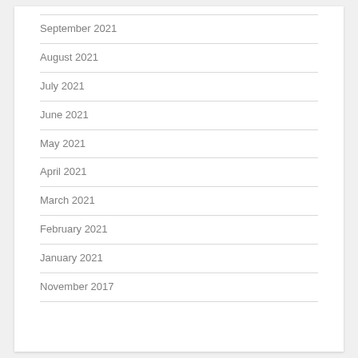September 2021
August 2021
July 2021
June 2021
May 2021
April 2021
March 2021
February 2021
January 2021
November 2017